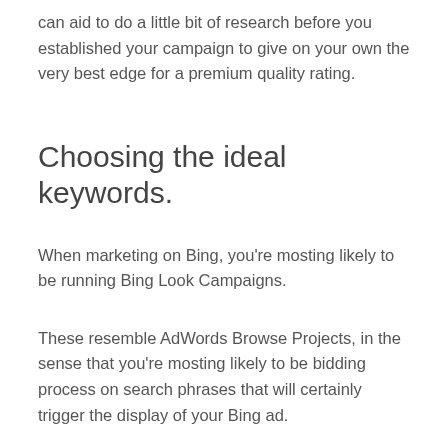can aid to do a little bit of research before you established your campaign to give on your own the very best edge for a premium quality rating.
Choosing the ideal keywords.
When marketing on Bing, you're mosting likely to be running Bing Look Campaigns.
These resemble AdWords Browse Projects, in the sense that you're mosting likely to be bidding process on search phrases that will certainly trigger the display of your Bing ad.
As you may've guessed, the key words that you select will certainly have a substantial influence